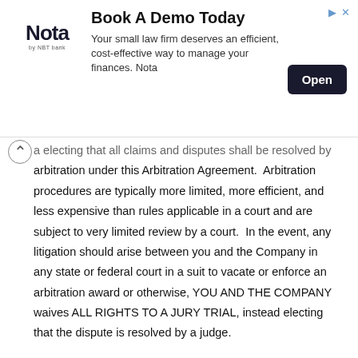[Figure (other): Advertisement banner for Nota by NBT Bank: 'Book A Demo Today' with text 'Your small law firm deserves an efficient, cost-effective way to manage your finances. Nota' and an 'Open' button. Nota logo on left.]
a electing that all claims and disputes shall be resolved by arbitration under this Arbitration Agreement. Arbitration procedures are typically more limited, more efficient, and less expensive than rules applicable in a court and are subject to very limited review by a court. In the event, any litigation should arise between you and the Company in any state or federal court in a suit to vacate or enforce an arbitration award or otherwise, YOU AND THE COMPANY waives ALL RIGHTS TO A JURY TRIAL, instead electing that the dispute is resolved by a judge.
Waiver of Class or Consolidated Actions. All claims and disputes within the scope of this arbitration agreement must be arbitrated or litigated on an individual basis and not on a class basis, and claims of more than one customer or user cannot be arbitrated or litigated jointly or consolidated with those of any other